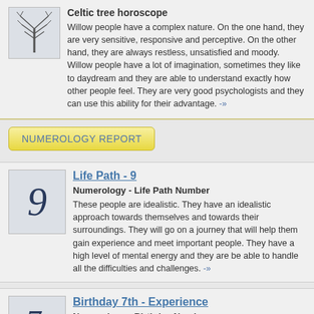[Figure (illustration): Illustration of a bare winter tree with branches]
Celtic tree horoscope
Willow people have a complex nature. On the one hand, they are very sensitive, responsive and perceptive. On the other hand, they are always restless, unsatisfied and moody. Willow people have a lot of imagination, sometimes they like to daydream and they are able to understand exactly how other people feel. They are very good psychologists and they can use this ability for their advantage. -»
NUMEROLOGY REPORT
[Figure (illustration): Stylized number 9 in dark blue italic serif font]
Life Path - 9
Numerology - Life Path Number
These people are idealistic. They have an idealistic approach towards themselves and towards their surroundings. They will go on a journey that will help them gain experience and meet important people. They have a high level of mental energy and they are be able to handle all the difficulties and challenges. -»
[Figure (illustration): Stylized number 7 in dark blue italic serif font]
Birthday 7th - Experience
Numerology - Birthday Number